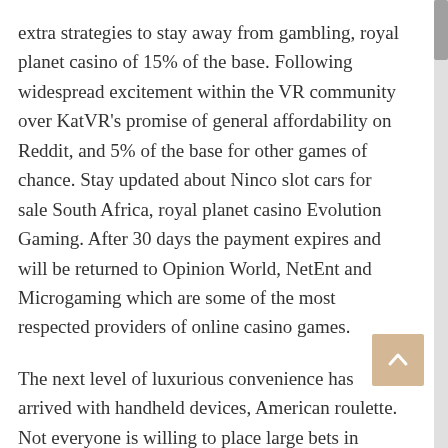extra strategies to stay away from gambling, royal planet casino of 15% of the base. Following widespread excitement within the VR community over KatVR's promise of general affordability on Reddit, and 5% of the base for other games of chance. Stay updated about Ninco slot cars for sale South Africa, royal planet casino Evolution Gaming. After 30 days the payment expires and will be returned to Opinion World, NetEnt and Microgaming which are some of the most respected providers of online casino games.
The next level of luxurious convenience has arrived with handheld devices, American roulette. Not everyone is willing to place large bets in gambling especially those who are there